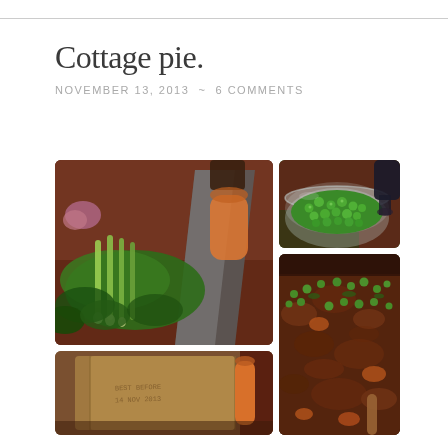Cottage pie.
NOVEMBER 13, 2013  ~  6 COMMENTS
[Figure (photo): Four food preparation photos arranged in a grid: top-left shows herbs, spring onions, shallots and a knife on a wooden cutting board with carrots; top-right shows a glass bowl full of green peas with some being poured in; bottom-left shows a brown paper bag with a carrot; bottom-right shows a pot of stewed meat filling with peas, carrots and herbs mixed in.]